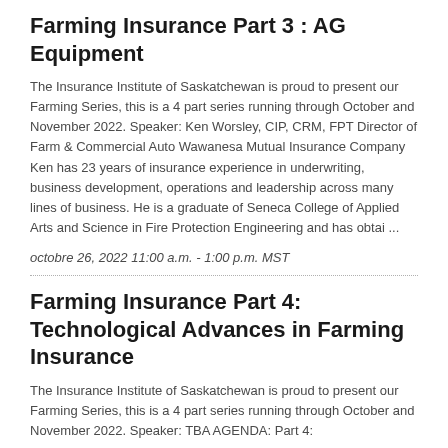Farming Insurance Part 3 : AG Equipment
The Insurance Institute of Saskatchewan is proud to present our Farming Series, this is a 4 part series running through October and November 2022. Speaker: Ken Worsley, CIP, CRM, FPT Director of Farm & Commercial Auto Wawanesa Mutual Insurance Company Ken has 23 years of insurance experience in underwriting, business development, operations and leadership across many lines of business. He is a graduate of Seneca College of Applied Arts and Science in Fire Protection Engineering and has obtai ...
octobre 26, 2022 11:00 a.m. - 1:00 p.m. MST
Farming Insurance Part 4: Technological Advances in Farming Insurance
The Insurance Institute of Saskatchewan is proud to present our Farming Series, this is a 4 part series running through October and November 2022. Speaker: TBA AGENDA: Part 4: